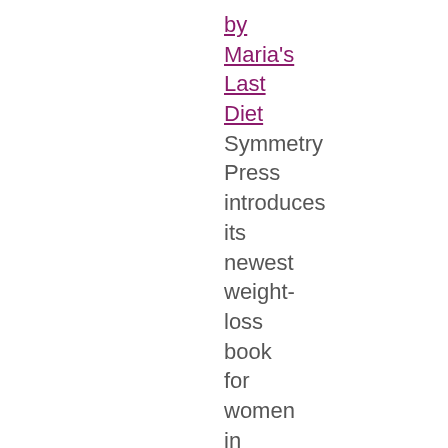by
Maria's
Last
Diet
Symmetry Press introduces its newest weight-loss book for women in the Using Psychology to Lose Weight series